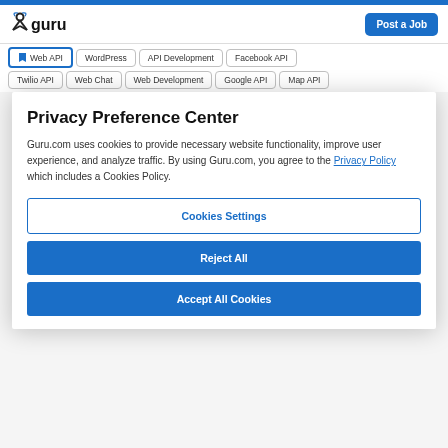Guru.com header with logo and Post a Job button
Web API | WordPress | API Development | Facebook API
Twilio API | Web Chat | Web Development | Google API | Map API
Privacy Preference Center
Guru.com uses cookies to provide necessary website functionality, improve user experience, and analyze traffic. By using Guru.com, you agree to the Privacy Policy which includes a Cookies Policy.
Cookies Settings
Reject All
Accept All Cookies